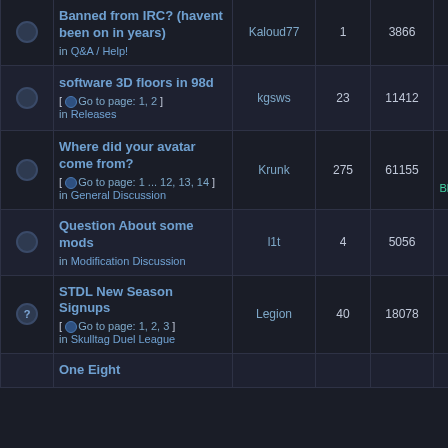|  | Topic | Author | Replies | Views | Last Post |
| --- | --- | --- | --- | --- | --- |
|  | Banned from IRC? (havent been on in years)
in Q&A / Help! | Kaloud77 | 1 | 3866 | Fri May 04, 20
4:03 pm
Konar6 |
|  | software 3D floors in 98d
[ Go to page: 1, 2 ]
in Releases | kgsws | 23 | 11412 | Thu May 03, 20
9:31 am
Ænima |
|  | Where did your avatar come from?
[ Go to page: 1 ... 12, 13, 14 ]
in General Discussion | Krunk | 275 | 61155 | Thu May 03, 20
6:59 pm
Blasphemy |
|  | Question About some mods
in Modification Discussion | l1t | 4 | 5056 | Thu May 03, 20
10:06 am
marco75 |
|  | STDL New Season Signups
[ Go to page: 1, 2, 3 ]
in Skulltag Duel League | Legion | 40 | 18078 | Fri May 04, 20
11:42 am
Xaver |
|  | One Eight |  |  |  |  |